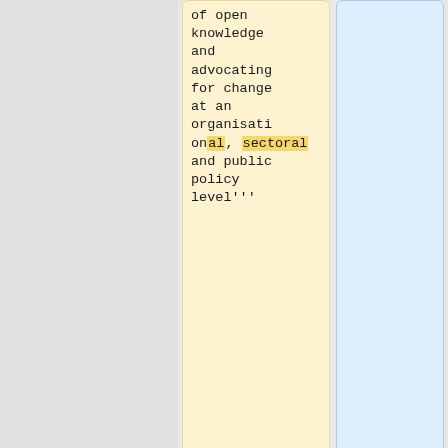of open knowledge and advocating for change at an organisational, sectoral and public policy level'''
Our objectives under this aim are to:
*We are '''transparent''' in our operations
*Develop the identity and increase the profile of
*We promote the provision of '''high